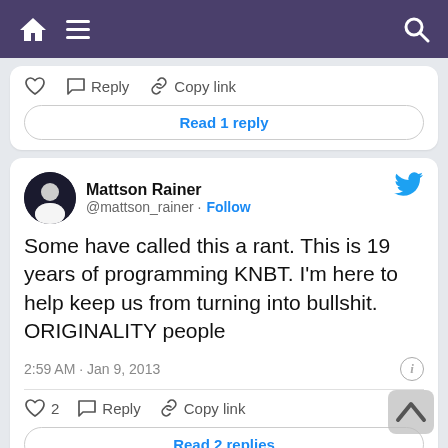Navigation bar with home, menu, and search icons
[Figure (screenshot): Partial tweet card showing heart, reply, copy link actions and Read 1 reply button]
Mattson Rainer @mattson_rainer · Follow
Some have called this a rant. This is 19 years of programming KNBT. I'm here to help keep us from turning into bullshit. ORIGINALITY people
2:59 AM · Jan 9, 2013
♡ 2   Reply   Copy link
Read 2 replies